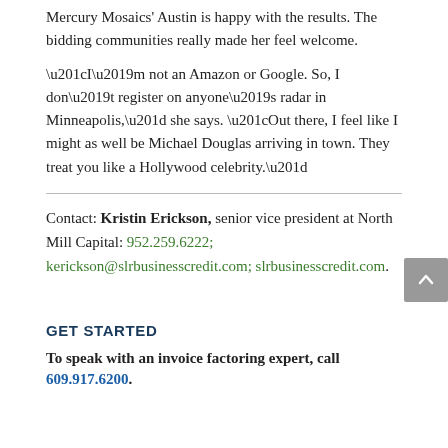Mercury Mosaics' Austin is happy with the results. The bidding communities really made her feel welcome.
“I’m not an Amazon or Google. So, I don’t register on anyone’s radar in Minneapolis,” she says. “Out there, I feel like I might as well be Michael Douglas arriving in town. They treat you like a Hollywood celebrity.”
Contact: Kristin Erickson, senior vice president at North Mill Capital: 952.259.6222; kerickson@slrbusinesscredit.com; slrbusinesscredit.com.
GET STARTED
To speak with an invoice factoring expert, call 609.917.6200.